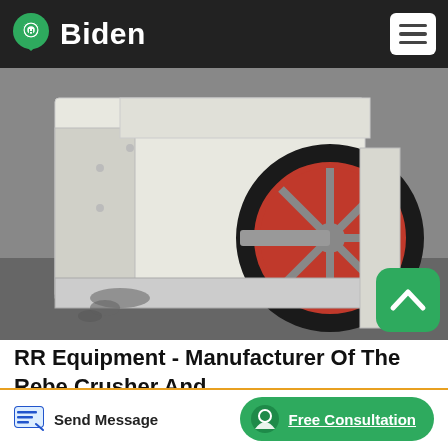Biden
[Figure (photo): Industrial crusher machine with a large red flywheel and white body, photographed on a factory floor with liquid pooled on ground.]
RR Equipment - Manufacturer Of The Rebel Crusher And
In addition to the Crush-All , Rebel Crusher and Swing Screen , we manufacture conveyors, Portable Radial Stackers, Impact Crushers, Jaw Crushers, Cone Crushers, Screening Plants, Mobile Jaw and Impact Crushers, Steel Stands, Skids, Structures, and/or Portable Crushing, Screening, Conveying,
Send Message | Free Consultation